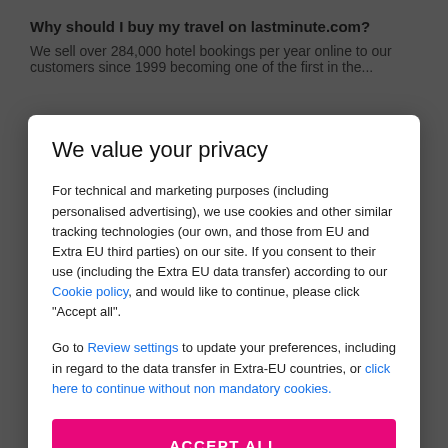Why should I buy my travel on lastminute.com?
We sell over 284,000 hotel bookings per year online to our customers since 1999 becoming one of the first in the...
We value your privacy
For technical and marketing purposes (including personalised advertising), we use cookies and other similar tracking technologies (our own, and those from EU and Extra EU third parties) on our site. If you consent to their use (including the Extra EU data transfer) according to our Cookie policy, and would like to continue, please click "Accept all".
Go to Review settings to update your preferences, including in regard to the data transfer in Extra-EU countries, or click here to continue without non mandatory cookies.
ACCEPT ALL
booking. In general, requests for additional baggage are confirmed within 7 days.
At what time can I have my room? And what time do